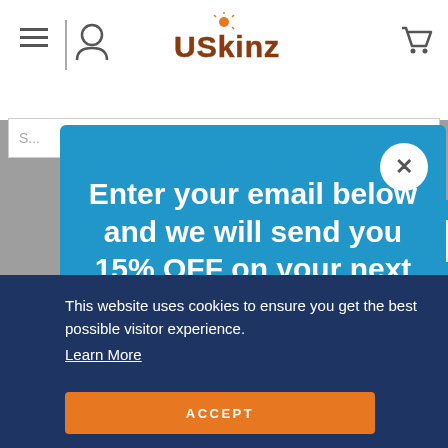[Figure (screenshot): USkinz website header with logo, hamburger menu, user icon, cart icon, and search bar. Background is greyed out behind two overlapping modals.]
Enter your email below and we will send you 15% OFF on your next purchase.
This website uses cookies to ensure you get the best possible visitor experience. Learn More
ACCEPT